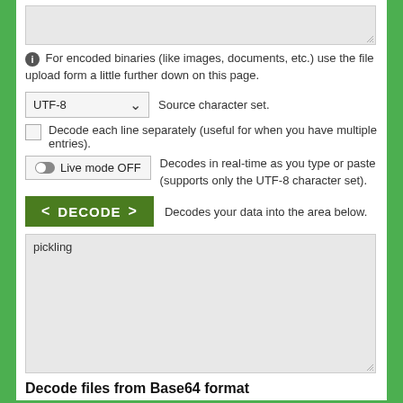[Figure (screenshot): A textarea input box (gray background, empty) with a resize handle at bottom right.]
For encoded binaries (like images, documents, etc.) use the file upload form a little further down on this page.
UTF-8  Source character set.
Decode each line separately (useful for when you have multiple entries).
Live mode OFF  Decodes in real-time as you type or paste (supports only the UTF-8 character set).
DECODE  Decodes your data into the area below.
pickling
Decode files from Base64 format